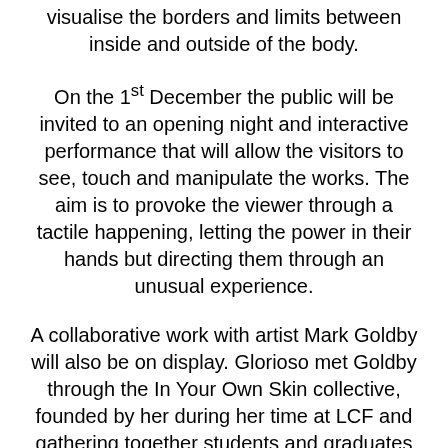visualise the borders and limits between inside and outside of the body.
On the 1st December the public will be invited to an opening night and interactive performance that will allow the visitors to see, touch and manipulate the works. The aim is to provoke the viewer through a tactile happening, letting the power in their hands but directing them through an unusual experience.
A collaborative work with artist Mark Goldby will also be on display. Glorioso met Goldby through the In Your Own Skin collective, founded by her during her time at LCF and gathering together students and graduates across UAL interested in themes such as skin, embodiment and